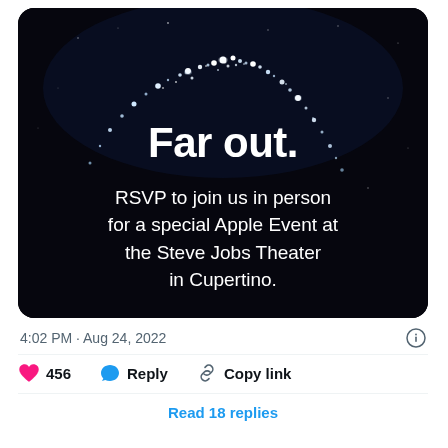[Figure (screenshot): Apple Event invitation card with dark/black background, a ring of sparkling white stars/particles forming a curved arc at the top, bold white text reading 'Far out.' and smaller text 'RSVP to join us in person for a special Apple Event at the Steve Jobs Theater in Cupertino.']
4:02 PM · Aug 24, 2022
456   Reply   Copy link
Read 18 replies